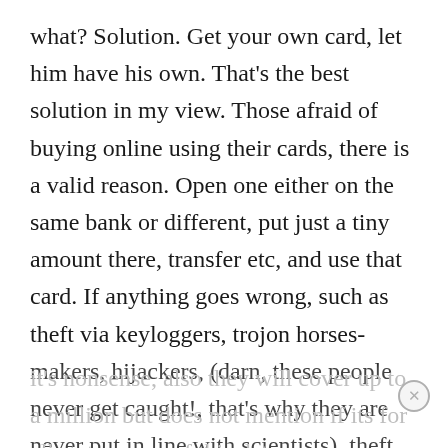what? Solution. Get your own card, let him have his own. That's the best solution in my view. Those afraid of buying online using their cards, there is a valid reason. Open one either on the same bank or different, put just a tiny amount there, transfer etc, and use that card. If anything goes wrong, such as theft via keyloggers, trojon horses-makers, hijackers, (darn, these people never get caught!, that's why they are never put in line with scientists), theft protection plan needs to be read carefully; do not understand why some state they will refund more while others are not included. To give you an example. so called LifeLock, a program to block identity theft says they will stop it, it's nonsense, also they will cover up to a million but does not mention if its for all state….. as of this date